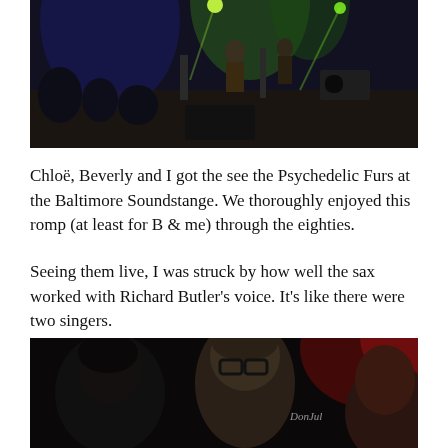[Figure (photo): Concert photo showing band performing on stage with colorful green and blue stage lighting, audience visible in foreground]
Chloë, Beverly and I got the see the Psychedelic Furs at the Baltimore Soundstange. We thoroughly enjoyed this romp (at least for B & me) through the eighties.
Seeing them live, I was struck by how well the sax worked with Richard Butler's voice. It's like there were two singers.
[Figure (photo): Photo of three people at the concert venue, man with glasses in center, two women on either side, red stage lighting in background, watermark 'DonJul' visible]